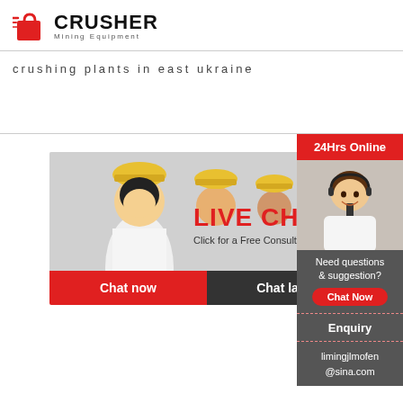[Figure (logo): Crusher Mining Equipment logo with red shopping bag icon and bold CRUSHER text]
crushing plants in east ukraine
[Figure (infographic): Live chat banner with workers in hard hats, LIVE CHAT heading, Click for a Free Consultation text, Chat now and Chat later buttons]
[Figure (infographic): Right sidebar: 24Hrs Online, customer service representative photo with headset, Need questions & suggestion? Chat Now button, Enquiry section, limingjlmofen@sina.com email]